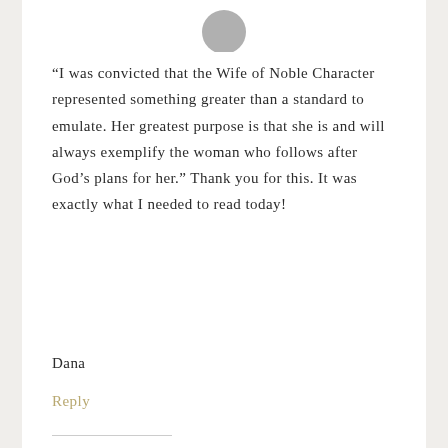[Figure (illustration): Gray silhouette avatar of a person, partially visible at top of content area]
“I was convicted that the Wife of Noble Character represented something greater than a standard to emulate. Her greatest purpose is that she is and will always exemplify the woman who follows after God’s plans for her.” Thank you for this. It was exactly what I needed to read today!
Dana
Reply